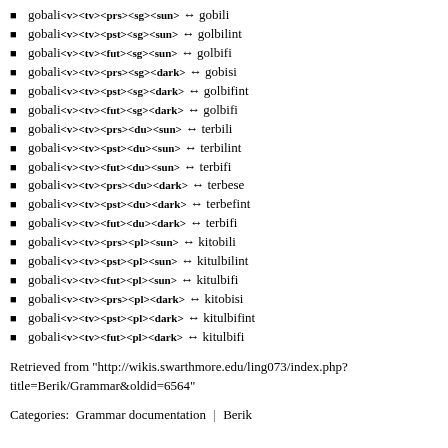gobali<v><tv><prs><sg><sun> ↔ gobili
gobali<v><tv><pst><sg><sun> ↔ golbilint
gobali<v><tv><fut><sg><sun> ↔ golbifi
gobali<v><tv><prs><sg><dark> ↔ gobisi
gobali<v><tv><pst><sg><dark> ↔ golbifint
gobali<v><tv><fut><sg><dark> ↔ golbifi
gobali<v><tv><prs><du><sun> ↔ terbili
gobali<v><tv><pst><du><sun> ↔ terbilint
gobali<v><tv><fut><du><sun> ↔ terbifi
gobali<v><tv><prs><du><dark> ↔ terbese
gobali<v><tv><pst><du><dark> ↔ terbefint
gobali<v><tv><fut><du><dark> ↔ terbifi
gobali<v><tv><prs><pl><sun> ↔ kitobili
gobali<v><tv><pst><pl><sun> ↔ kitulbilint
gobali<v><tv><fut><pl><sun> ↔ kitulbifi
gobali<v><tv><prs><pl><dark> ↔ kitobisi
gobali<v><tv><pst><pl><dark> ↔ kitulbifint
gobali<v><tv><fut><pl><dark> ↔ kitulbifi
Retrieved from "http://wikis.swarthmore.edu/ling073/index.php?title=Berik/Grammar&oldid=6564"
Categories:  Grammar documentation | Berik